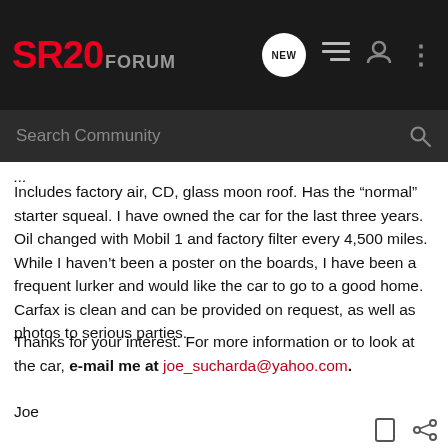SR20 FORUM
Includes factory air, CD, glass moon roof. Has the “normal” starter squeal. I have owned the car for the last three years. Oil changed with Mobil 1 and factory filter every 4,500 miles. While I haven’t been a poster on the boards, I have been a frequent lurker and would like the car to go to a good home. Carfax is clean and can be provided on request, as well as photos to serious parties.
Thanks for your interest. For more information or to look at the car, e-mail me at joe_sucharda@yahoo.com.
Joe